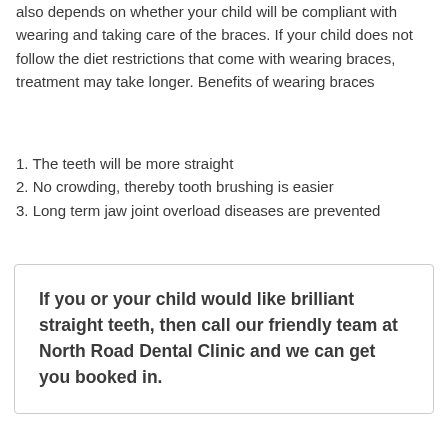also depends on whether your child will be compliant with wearing and taking care of the braces. If your child does not follow the diet restrictions that come with wearing braces, treatment may take longer. Benefits of wearing braces
1. The teeth will be more straight
2. No crowding, thereby tooth brushing is easier
3. Long term jaw joint overload diseases are prevented
If you or your child would like brilliant straight teeth, then call our friendly team at North Road Dental Clinic and we can get you booked in.